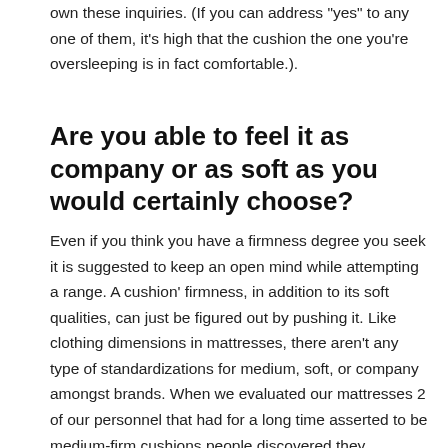own these inquiries. (If you can address "yes" to any one of them, it's high that the cushion the one you're oversleeping is in fact comfortable.).
Are you able to feel it as company or as soft as you would certainly choose?
Even if you think you have a firmness degree you seek it is suggested to keep an open mind while attempting a range. A cushion' firmness, in addition to its soft qualities, can just be figured out by pushing it. Like clothing dimensions in mattresses, there aren't any type of standardizations for medium, soft, or company amongst brands. When we evaluated our mattresses 2 of our personnel that had for a long time asserted to be medium-firm cushions people discovered they preferred bed mattress that were labeled tool. When searching the net along with checking out review articles, remember that words “firm” typically refers to various points to people. Also though countless reviews of individuals state the Saavco Select had a firm” however it actually